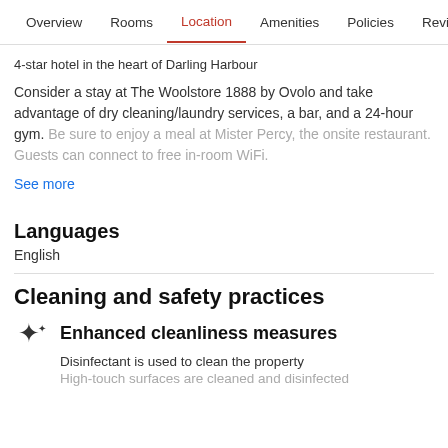Overview  Rooms  Location  Amenities  Policies  Reviews
4-star hotel in the heart of Darling Harbour
Consider a stay at The Woolstore 1888 by Ovolo and take advantage of dry cleaning/laundry services, a bar, and a 24-hour gym. Be sure to enjoy a meal at Mister Percy, the onsite restaurant. Guests can connect to free in-room WiFi.
See more
Languages
English
Cleaning and safety practices
Enhanced cleanliness measures
Disinfectant is used to clean the property
High-touch surfaces are cleaned and disinfected